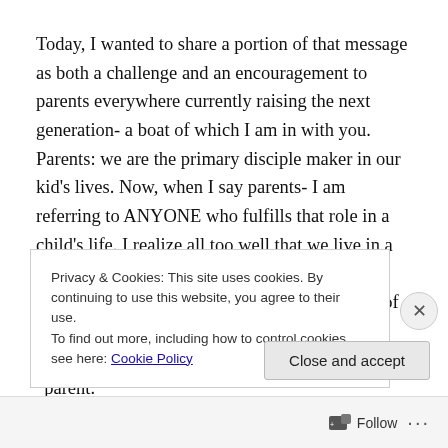Today, I wanted to share a portion of that message as both a challenge and an encouragement to parents everywhere currently raising the next generation- a boat of which I am in with you. Parents: we are the primary disciple maker in our kid's lives. Now, when I say parents- I am referring to ANYONE who fulfills that role in a child's life. I realize all too well that we live in a world where biological parents can be non-existent, where grandparents are on round two of child rearing, and where step-parents, aunts, uncles, and even siblings are in the role of “parent.”
Privacy & Cookies: This site uses cookies. By continuing to use this website, you agree to their use.
To find out more, including how to control cookies, see here: Cookie Policy